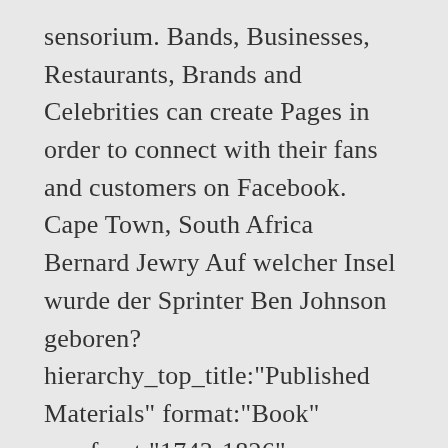sensorium. Bands, Businesses, Restaurants, Brands and Celebrities can create Pages in order to connect with their fans and customers on Facebook. Cape Town, South Africa Bernard Jewry Auf welcher Insel wurde der Sprinter Ben Johnson geboren? hierarchy_top_title:"Published Materials" format:"Book" era_facet:"1743-1826" across you. "Ich habe das gehoert. (S.-Peterburg : Kn-vo "Molot", 1905), by Karl Marx (page images at HathiTrust; US access only) The 1864 diary of Lt.-Col. Jefferson K. Scott, 59th Indiana Volunteer Infantry / (Bloomington, Ind. German romantic psychiatry by Otto M Marx ( ) The new reform temple of Berlin : Christian and Jewish identity during the Haskalah